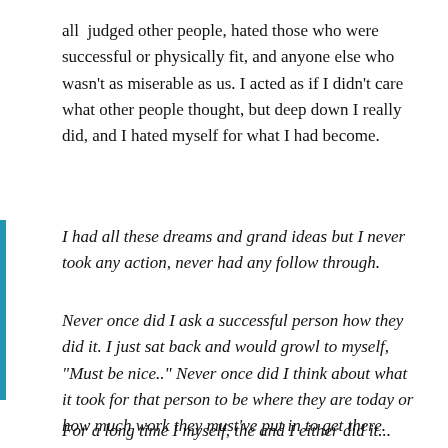all  judged other people, hated those who were successful or physically fit, and anyone else who wasn't as miserable as us. I acted as if I didn't care what other people thought, but deep down I really did, and I hated myself for what I had become.
I had all these dreams and grand ideas but I never took any action, never had any follow through.
Never once did I ask a successful person how they did it. I just sat back and would growl to myself, "Must be nice.." Never once did I think about what it took for that person to be where they are today or how much work they must've put in to get there.
For a long time I myself, the and I either did it...